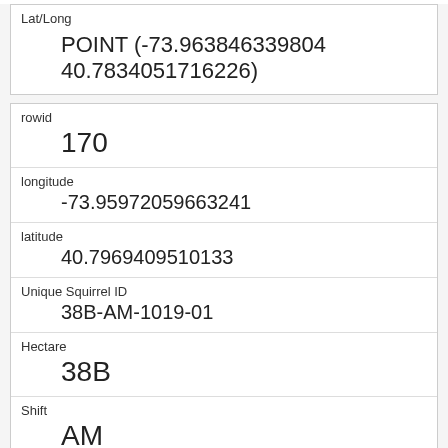| Field | Value |
| --- | --- |
| Lat/Long | POINT (-73.963846339804 40.7834051716226) |
| rowid | 170 |
| longitude | -73.95972059663241 |
| latitude | 40.7969409510133 |
| Unique Squirrel ID | 38B-AM-1019-01 |
| Hectare | 38B |
| Shift | AM |
| Date | 10192018 |
| Hectare Squirrel Number | 1 |
| Age |  |